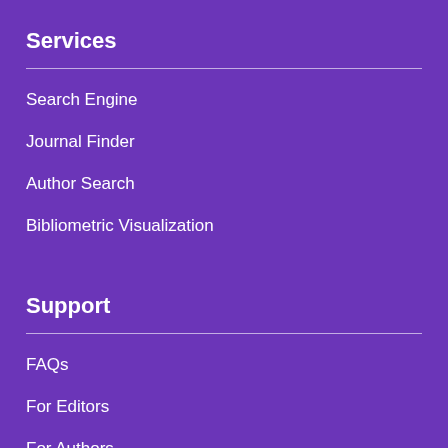Services
Search Engine
Journal Finder
Author Search
Bibliometric Visualization
Support
FAQs
For Editors
For Authors
Advertise With Us